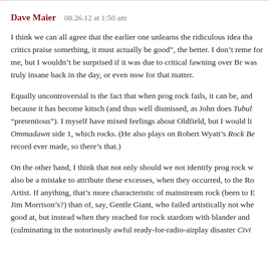Dave Maier   08.26.12 at 1:50 am
I think we can all agree that the earlier one unlearns the ridiculous idea tha critics praise something, it must actually be good”, the better. I don’t reme for me, but I wouldn’t be surprised if it was due to critical fawning over Br was truly insane back in the day, or even now for that matter.
Equally uncontroversial is the fact that when prog rock fails, it can be, and because it has become kitsch (and thus well dismissed, as John does Tubul “pretentious”). I myself have mixed feelings about Oldfield, but I would li Ommadawn side 1, which rocks. (He also plays on Robert Wyatt’s Rock Be record ever made, so there’s that.)
On the other hand, I think that not only should we not identify prog rock w also be a mistake to attribute these excesses, when they occurred, to the Ro Artist. If anything, that’s more characteristic of mainstream rock (been to E Jim Morrison’s?) than of, say, Gentle Giant, who failed artistically not whe good at, but instead when they reached for rock stardom with blander and (culminating in the notoriously awful ready-for-radio-airplay disaster Civi